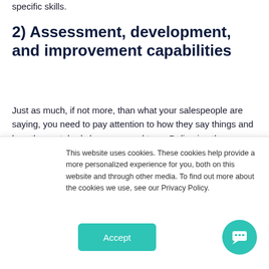specific skills.
2) Assessment, development, and improvement capabilities
Just as much, if not more, than what your salespeople are saying, you need to pay attention to how they say things and how they act, body language and tone. Delivering the argument effectively determines whether or not their speech closes the sale. It does not matter whether they sell in person or online.
To engage, convince, and inspire prospective customers,
This website uses cookies. These cookies help provide a more personalized experience for you, both on this website and through other media. To find out more about the cookies we use, see our Privacy Policy.